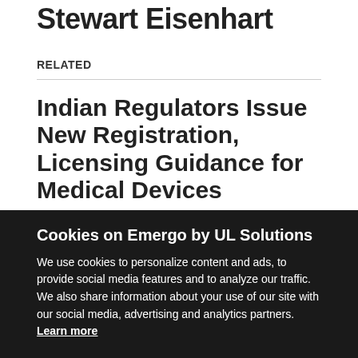Stewart Eisenhart
RELATED
Indian Regulators Issue New Registration, Licensing Guidance for Medical Devices
India's Central Drugs Standard Control Organization (CDSCO) has published new guidance documents covering registration and re-registration of notified medical devices, as well as guidances for manufacturing and import licensing.
Cookies on Emergo by UL Solutions
We use cookies to personalize content and ads, to provide social media features and to analyze our traffic. We also share information about your use of our site with our social media, advertising and analytics partners. Learn more